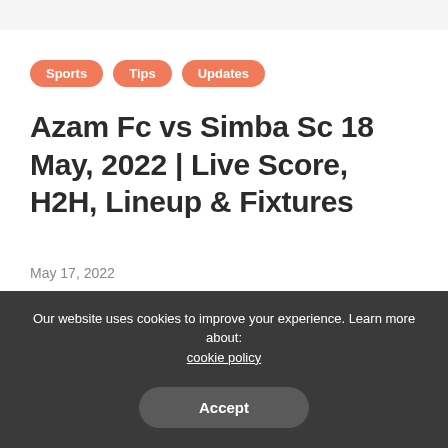Sports
Tips
Updates
Azam Fc vs Simba Sc 18 May, 2022 | Live Score, H2H, Lineup & Fixtures
May 17, 2022
[Figure (other): Grey placeholder content area]
Our website uses cookies to improve your experience. Learn more about: cookie policy
Accept